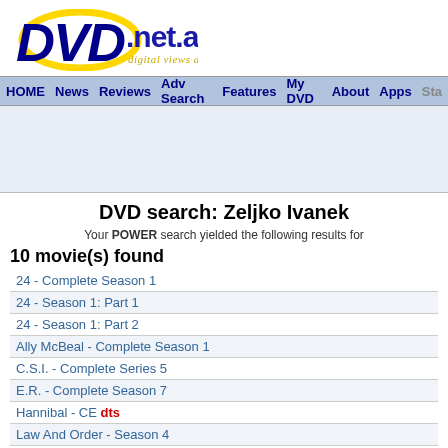[Figure (logo): DVD.net.au logo with blue italic DVD text, yellow arc, and tagline 'digital views daily']
HOME  News  Reviews  Adv Search  Features  My DVD  About  Apps  Sta
DVD search: Zeljko Ivanek
Your POWER search yielded the following results for
10 movie(s) found
24 - Complete Season 1
24 - Season 1: Part 1
24 - Season 1: Part 2
Ally McBeal - Complete Season 1
C.S.I. - Complete Series 5
E.R. - Complete Season 7
Hannibal - CE dts
Law And Order - Season 4
The X-Files - Season 1: Part 2